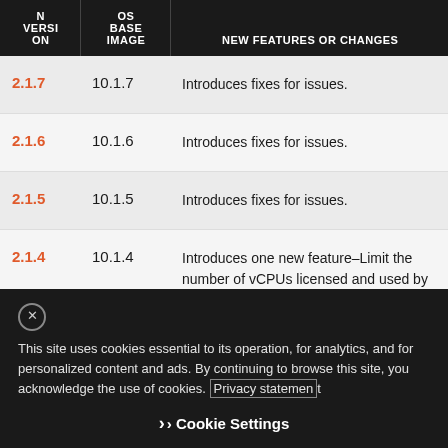| N VERSION | OS BASE IMAGE | NEW FEATURES OR CHANGES |
| --- | --- | --- |
| 2.1.7 | 10.1.7 | Introduces fixes for issues. |
| 2.1.6 | 10.1.6 | Introduces fixes for issues. |
| 2.1.5 | 10.1.5 | Introduces fixes for issues. |
| 2.1.4 | 10.1.4 | Introduces one new feature–Limit the number of vCPUs licensed and used by a VM-Series firewall. |
| 2.1.3 | 10.1.3 | Addresses a known issue. |
This site uses cookies essential to its operation, for analytics, and for personalized content and ads. By continuing to browse this site, you acknowledge the use of cookies. Privacy statement
Cookie Settings